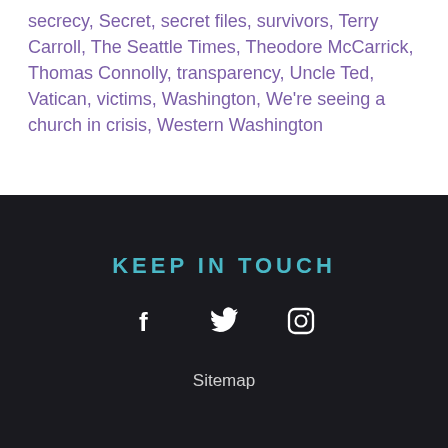secrecy, Secret, secret files, survivors, Terry Carroll, The Seattle Times, Theodore McCarrick, Thomas Connolly, transparency, Uncle Ted, Vatican, victims, Washington, We're seeing a church in crisis, Western Washington
KEEP IN TOUCH
[Figure (other): Three social media icons: Facebook (f), Twitter (bird), Instagram (camera outline), displayed in white on dark background]
Sitemap